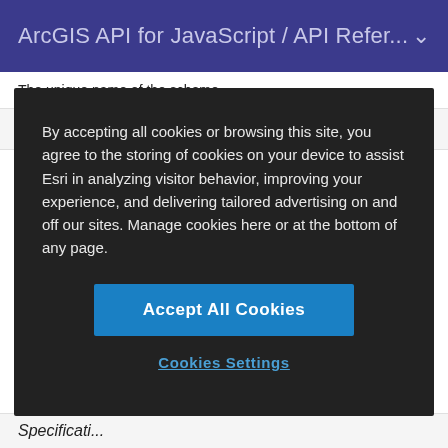ArcGIS API for JavaScript / API Refer...
The unique name of the scheme.
tags   String[]
By accepting all cookies or browsing this site, you agree to the storing of cookies on your device to assist Esri in analyzing visitor behavior, improving your experience, and delivering tailored advertising on and off our sites. Manage cookies here or at the bottom of any page.
Accept All Cookies
Cookies Settings